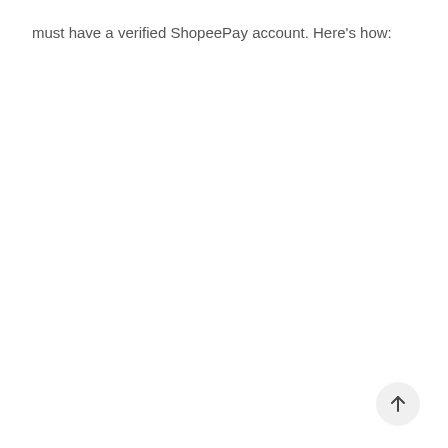must have a verified ShopeePay account. Here’s how:
[Figure (other): Scroll-to-top button: a circular light grey button with an upward arrow icon, positioned in the bottom-right corner of the page.]